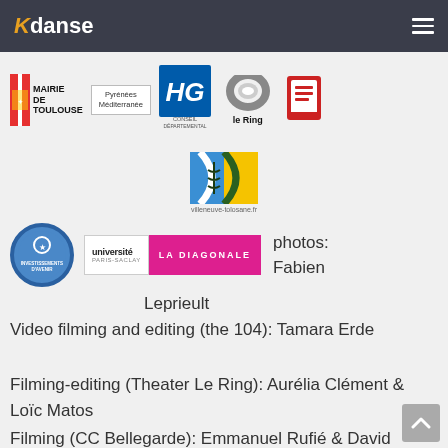Kdanse
[Figure (logo): Mairie de Toulouse logo with French flag colors]
[Figure (logo): Pyrénées Méditerranée bordered box logo]
[Figure (logo): Conseil Départemental Haute-Garonne logo]
[Figure (logo): le Ring logo with bolt/nut icon]
[Figure (logo): Red stamp/seal logo]
[Figure (logo): Villeneuve-tolosane.fr logo]
[Figure (logo): Investissements d'Avenir circular blue logo]
[Figure (logo): Université Paris-Saclay La Diagonale banner logo]
photos: Fabien Leprieult
Video filming and editing (the 104): Tamara Erde
Filming-editing (Theater Le Ring): Aurélia Clément & Loïc Matos
Filming (CC Bellegarde): Emmanuel Rufié & David Lidier, Editing: Glenn Felix
Video filming and editing (outdoor version):